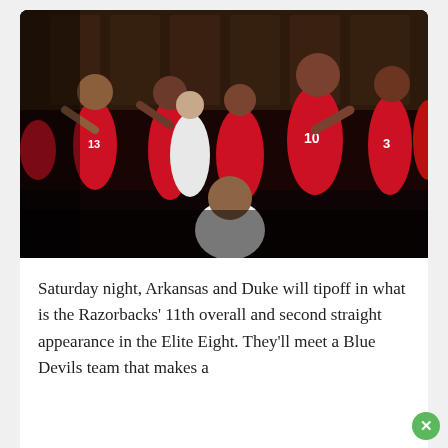[Figure (photo): Arkansas Razorbacks basketball team celebrating in a locker room, wearing red uniforms. Several players are laughing and cheering, with jersey numbers visible including 13, 10, and 3. A coach in a white shirt is seen from behind in the foreground.]
Saturday night, Arkansas and Duke will tipoff in what is the Razorbacks' 11th overall and second straight appearance in the Elite Eight. They'll meet a Blue Devils team that makes a